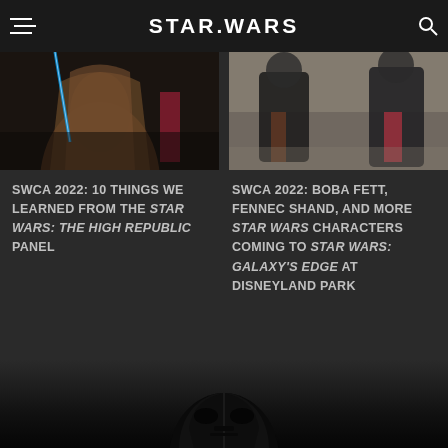STAR WARS
[Figure (photo): Photo of a Jedi character in brown robes holding a blue lightsaber at Star Wars Celebration 2022]
SWCA 2022: 10 THINGS WE LEARNED FROM THE STAR WARS: THE HIGH REPUBLIC PANEL
[Figure (photo): Photo of Boba Fett, Fennec Shand and other Star Wars characters at Star Wars Celebration 2022]
SWCA 2022: BOBA FETT, FENNEC SHAND, AND MORE STAR WARS CHARACTERS COMING TO STAR WARS: GALAXY'S EDGE AT DISNEYLAND PARK
[Figure (photo): Partial view of Darth Vader helmet emerging from bottom of page]